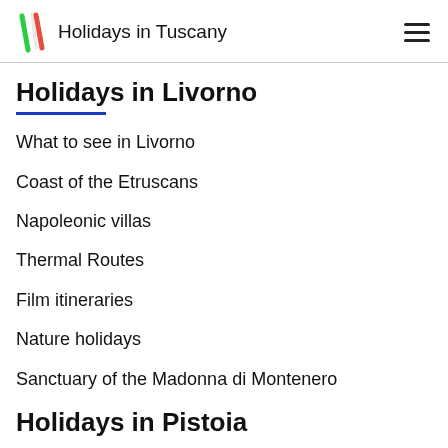Holidays in Tuscany
Holidays in Livorno
What to see in Livorno
Coast of the Etruscans
Napoleonic villas
Thermal Routes
Film itineraries
Nature holidays
Sanctuary of the Madonna di Montenero
Holidays in Pistoia